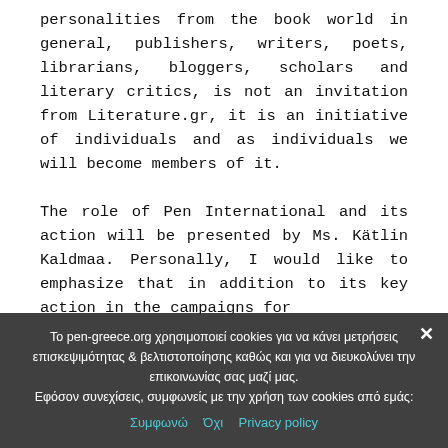personalities from the book world in general, publishers, writers, poets, librarians, bloggers, scholars and literary critics, is not an invitation from Literature.gr, it is an initiative of individuals and as individuals we will become members of it.
The role of Pen International and its action will be presented by Ms. Kätlin Kaldmaa. Personally, I would like to emphasize that in addition to its key action in the campaigns for
Το pen-greece.org χρησιμοποιεί cookies για να κάνει μετρήσεις επισκεψιμότητας & βελτιστοποίησης καθώς και για να διευκολύνει την επικοινωνίας σας μαζί μας. Εφόσον συνεχίσεις, συμφωνείς με την χρήση των cookies από εμάς:
Συμφωνώ  Όχι  Privacy policy